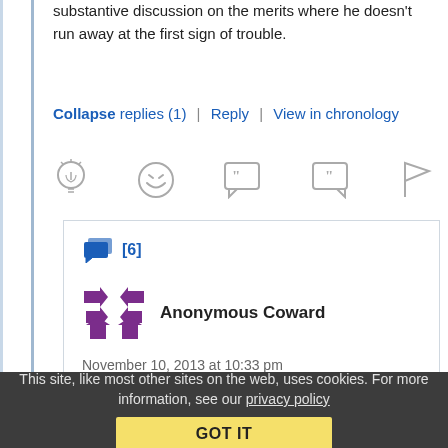substantive discussion on the merits where he doesn't run away at the first sign of trouble.
Collapse replies (1) | Reply | View in chronology
[Figure (infographic): Row of action icons: lightbulb, laughing face, open-quote speech bubble, close-quote speech bubble, flag]
[6]
[Figure (illustration): Anonymous Coward user avatar: purple geometric pattern with triangles/arrows]
Anonymous Coward
November 10, 2013 at 10:33 pm
This site, like most other sites on the web, uses cookies. For more information, see our privacy policy
GOT IT